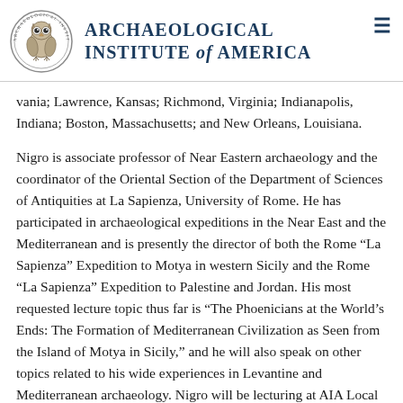Archaeological Institute of America
vania; Lawrence, Kansas; Richmond, Virginia; Indianapolis, Indiana; Boston, Massachusetts; and New Orleans, Louisiana.
Nigro is associate professor of Near Eastern archaeology and the coordinator of the Oriental Section of the Department of Sciences of Antiquities at La Sapienza, University of Rome. He has participated in archaeological expeditions in the Near East and the Mediterranean and is presently the director of both the Rome “La Sapienza” Expedition to Motya in western Sicily and the Rome “La Sapienza” Expedition to Palestine and Jordan. His most requested lecture topic thus far is “The Phoenicians at the World’s Ends: The Formation of Mediterranean Civilization as Seen from the Island of Motya in Sicily,” and he will also speak on other topics related to his wide experiences in Levantine and Mediterranean archaeology. Nigro will be lecturing at AIA Local Societies in